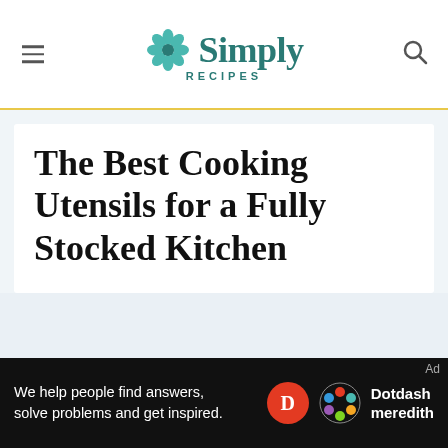Simply Recipes
The Best Cooking Utensils for a Fully Stocked Kitchen
[Figure (other): Light blue-gray empty content area placeholder]
[Figure (other): Dotdash Meredith advertisement banner: 'We help people find answers, solve problems and get inspired.']